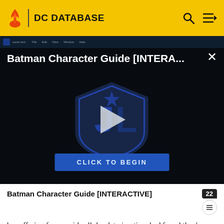DC DATABASE
[Figure (screenshot): Video player showing Batman Character Guide [INTERA...] with a Justice League shield logo, play button, and 'CLICK TO BEGIN' button on dark background]
Batman Character Guide [INTERACTIVE]
be suffering from rapid cellular deterioration, had found they're original and hoped to use him to lengthen their short lives. The process by which they intended to do this